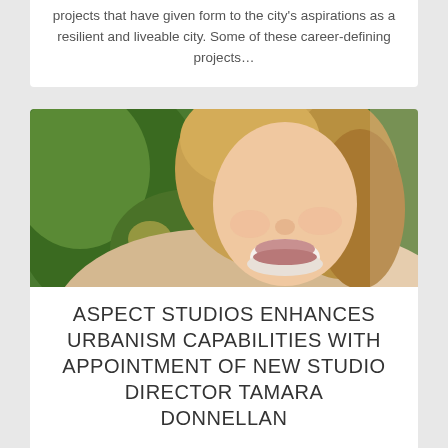projects that have given form to the city's aspirations as a resilient and liveable city. Some of these career-defining projects…
[Figure (photo): Close-up photo of a smiling woman with long blonde/light brown hair, outdoors with blurred green foliage background]
ASPECT STUDIOS ENHANCES URBANISM CAPABILITIES WITH APPOINTMENT OF NEW STUDIO DIRECTOR TAMARA DONNELLAN
ASPECT Studios is excited to announce the appointment of Tamara Donnellan as Studio Director. Designing…